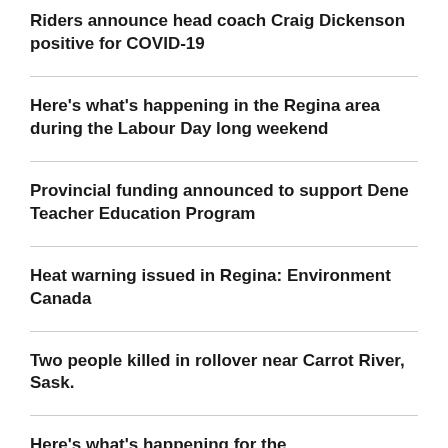Riders announce head coach Craig Dickenson positive for COVID-19
Here's what's happening in the Regina area during the Labour Day long weekend
Provincial funding announced to support Dene Teacher Education Program
Heat warning issued in Regina: Environment Canada
Two people killed in rollover near Carrot River, Sask.
Here's what's happening for the